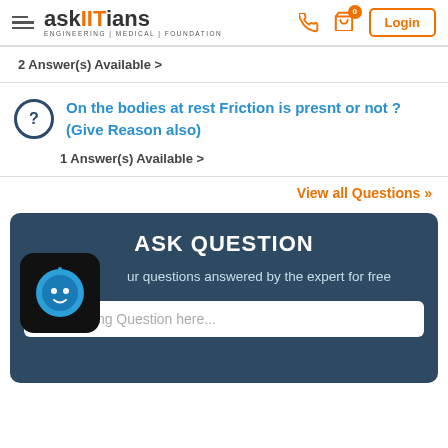[Figure (logo): askIITians logo with hamburger menu, phone icon, cart icon, and Login button]
2 Answer(s) Available >
On the bodies at rest Friction is presnt or not ?(Give Reason also)
1 Answer(s) Available >
View all Questions »
ASK QUESTION
Get your questions answered by the expert for free
Start Typing Question here...